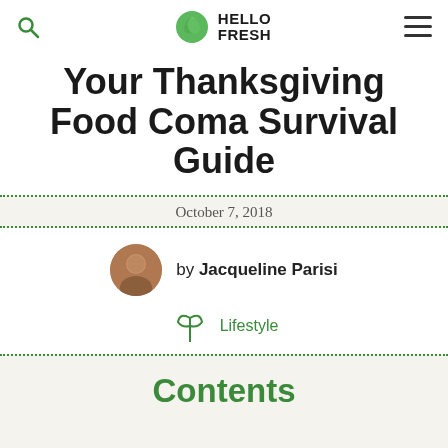HelloFresh
Your Thanksgiving Food Coma Survival Guide
October 7, 2018
by Jacqueline Parisi
Lifestyle
Contents